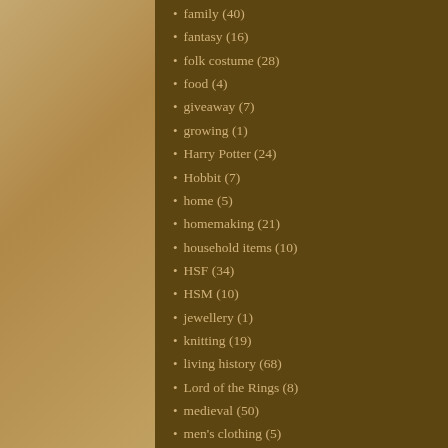family (40)
fantasy (16)
folk costume (28)
food (4)
giveaway (7)
growing (1)
Harry Potter (24)
Hobbit (7)
home (5)
homemaking (21)
household items (10)
HSF (34)
HSM (10)
jewellery (1)
knitting (19)
living history (68)
Lord of the Rings (8)
medieval (50)
men's clothing (5)
mending (3)
miniatures (4)
miscarriage (4)
Labels: reflections on life
3 comments
Amy 26 Janu
That's wonder
Reply
Hannah 26 Ja
Vad roligt för d
Reply
Sarah W
Thank you, bo
Hannah - pedia
på att vi skulle
med inriktning
Reply